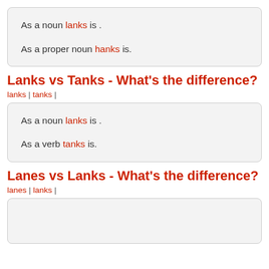As a noun lanks is . As a proper noun hanks is.
Lanks vs Tanks - What's the difference?
lanks | tanks |
As a noun lanks is . As a verb tanks is.
Lanes vs Lanks - What's the difference?
lanes | lanks |